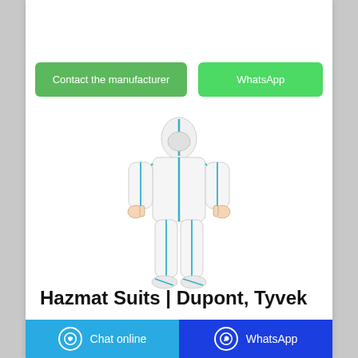[Figure (illustration): Person wearing a full white Hazmat/protective suit with blue seam tape, including hood and face mask. Standing with thumbs up pose.]
Hazmat Suits | Dupont, Tyvek
Contact the manufacturer
WhatsApp
Chat online   WhatsApp